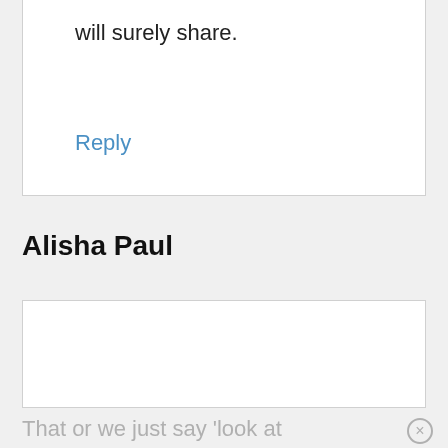will surely share.
Reply
Alisha Paul
Awesome article Dale! Wow, so many vegans travelling!
That or we just say 'look at